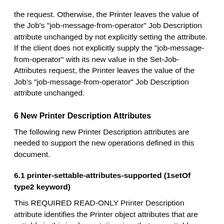the request. Otherwise, the Printer leaves the value of the Job's "job-message-from-operator" Job Description attribute unchanged by not explicitly setting the attribute. If the client does not explicitly supply the "job-message-from-operator" with its new value in the Set-Job-Attributes request, the Printer leaves the value of the Job's "job-message-from-operator" Job Description attribute unchanged.
6 New Printer Description Attributes
The following new Printer Description attributes are needed to support the new operations defined in this document.
6.1 printer-settable-attributes-supported (1setOf type2 keyword)
This REQUIRED READ-ONLY Printer Description attribute identifies the Printer object attributes that are settable in this implementation, i.e., that are settable using the Set-Printer-Attributes operations (see section 4.1). This attribute MUST be supported if the Set- Printer-Attributes operations